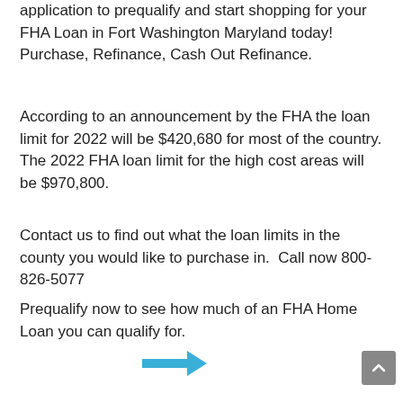application to prequalify and start shopping for your FHA Loan in Fort Washington Maryland today! Purchase, Refinance, Cash Out Refinance.
According to an announcement by the FHA the loan limit for 2022 will be $420,680 for most of the country. The 2022 FHA loan limit for the high cost areas will be $970,800.
Contact us to find out what the loan limits in the county you would like to purchase in.  Call now 800-826-5077
Prequalify now to see how much of an FHA Home Loan you can qualify for.
[Figure (other): Blue right-pointing arrow navigation icon]